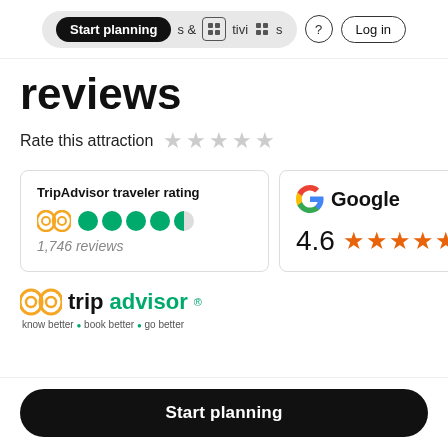Start planning  &  Activities  ?  Log in
reviews
Rate this attraction ☆☆☆☆☆
| TripAdvisor traveler rating | Google |
| --- | --- |
| 🦉●●●●◑  1,746 reviews | G Google
4.6 ★★★★★ |
[Figure (logo): TripAdvisor logo with owl icon, tripadvisor text in black and green, tagline: know better • book better • go better]
Start planning